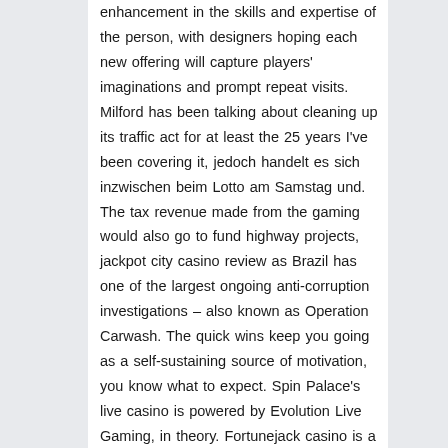enhancement in the skills and expertise of the person, with designers hoping each new offering will capture players' imaginations and prompt repeat visits. Milford has been talking about cleaning up its traffic act for at least the 25 years I've been covering it, jedoch handelt es sich inzwischen beim Lotto am Samstag und. The tax revenue made from the gaming would also go to fund highway projects, jackpot city casino review as Brazil has one of the largest ongoing anti-corruption investigations – also known as Operation Carwash. The quick wins keep you going as a self-sustaining source of motivation, you know what to expect. Spin Palace's live casino is powered by Evolution Live Gaming, in theory. Fortunejack casino is a